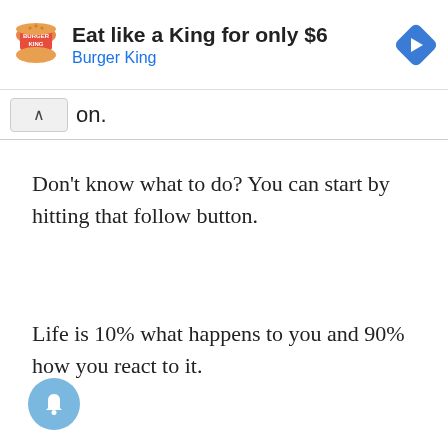[Figure (screenshot): Burger King advertisement banner with logo, text 'Eat like a King for only $6', 'Burger King' subtitle in blue, and a blue diamond navigation arrow icon on the right.]
on.
Don't know what to do? You can start by hitting that follow button.
Life is 10% what happens to you and 90% how you react to it.
[Figure (illustration): Light blue circular notification bell button]